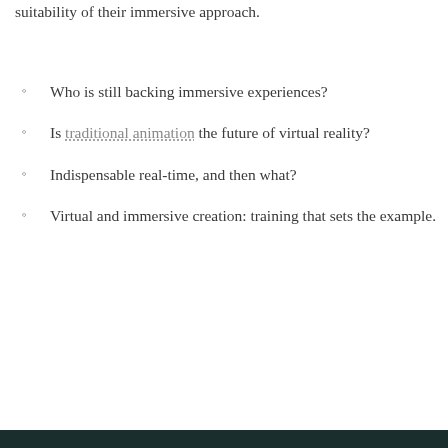suitability of their immersive approach.
Who is still backing immersive experiences?
Is traditional animation the future of virtual reality?
Indispensable real-time, and then what?
Virtual and immersive creation: training that sets the example.